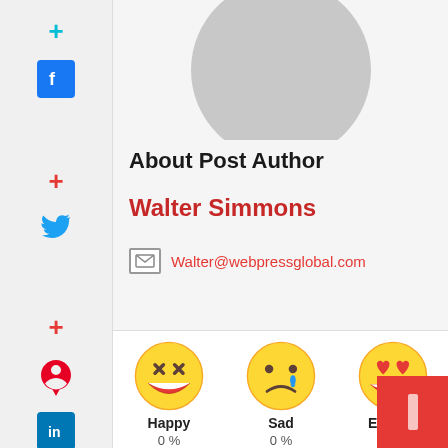[Figure (screenshot): Social sharing sidebar with icons: plus (cyan), Facebook, plus (red), Twitter, plus (red), Pinterest, LinkedIn]
About Post Author
Walter Simmons
Walter@webpressglobal.com
[Figure (illustration): Happy emoji face (laughing with tears of joy) labeled 'Happy' with 0%]
[Figure (illustration): Sad emoji face (crying) labeled 'Sad' with 0%]
[Figure (illustration): Excited emoji face (heart eyes) labeled 'Excited' with 0%]